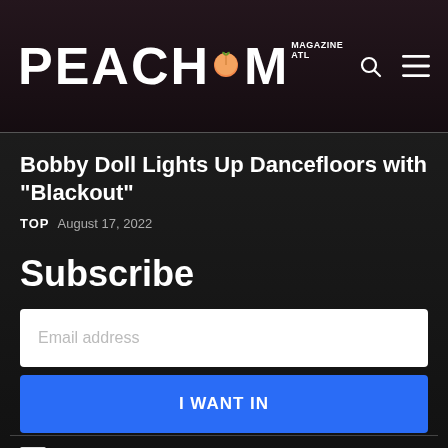PEACH MAGAZINE ATL
Bobby Doll Lights Up Dancefloors with "Blackout"
TOP  August 17, 2022
Subscribe
Email address
I WANT IN
I've read and accept the Privacy Policy.